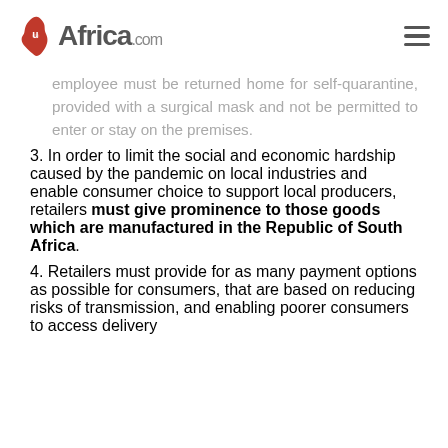uAfrica.com
employee must be returned home for self-quarantine, provided with a surgical mask and not be permitted to enter or stay on the premises.
In order to limit the social and economic hardship caused by the pandemic on local industries and enable consumer choice to support local producers, retailers must give prominence to those goods which are manufactured in the Republic of South Africa.
Retailers must provide for as many payment options as possible for consumers, that are based on reducing risks of transmission, and enabling poorer consumers to access delivery